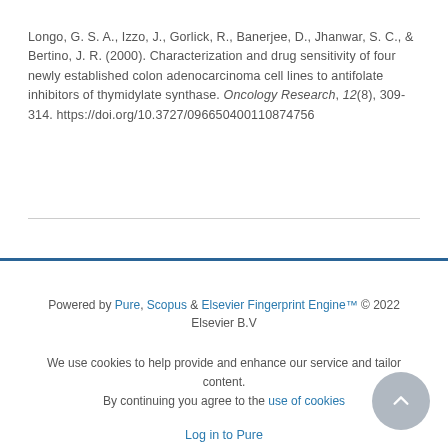Longo, G. S. A., Izzo, J., Gorlick, R., Banerjee, D., Jhanwar, S. C., & Bertino, J. R. (2000). Characterization and drug sensitivity of four newly established colon adenocarcinoma cell lines to antifolate inhibitors of thymidylate synthase. Oncology Research, 12(8), 309-314. https://doi.org/10.3727/096650400110874756
Powered by Pure, Scopus & Elsevier Fingerprint Engine™ © 2022 Elsevier B.V

We use cookies to help provide and enhance our service and tailor content. By continuing you agree to the use of cookies

Log in to Pure

About web accessibility